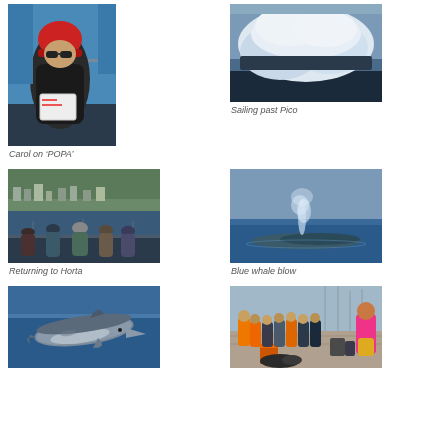[Figure (photo): Person wearing red hat and dark jacket sitting on a boat, holding papers, with blue sea in background]
Carol on ‘POPA’
[Figure (photo): Dramatic cloud formation over dark ocean, sailing past volcanic island Pico]
Sailing past Pico
[Figure (photo): Group of people standing on the deck of a boat looking toward a town on a hillside, returning to Horta]
Returning to Horta
[Figure (photo): Blue whale at the surface of the ocean showing a blow/spout]
Blue whale blow
[Figure (photo): Dolphin swimming near the surface of blue ocean water]
[Figure (photo): Group of people gathered on a dock or pier, some wearing orange vests, with marina in background]